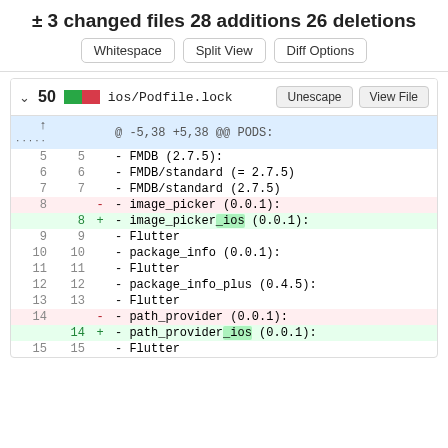± 3 changed files 28 additions 26 deletions
Whitespace | Split View | Diff Options
| old_ln | new_ln | op | code |
| --- | --- | --- | --- |
|  |  |  | @ -5,38 +5,38 @@ PODS: |
| 5 | 5 |  |     - FMDB (2.7.5): |
| 6 | 6 |  |       - FMDB/standard (= 2.7.5) |
| 7 | 7 |  |       - FMDB/standard (2.7.5) |
| 8 |  | - |     - image_picker (0.0.1): |
|  | 8 | + |     - image_picker_ios (0.0.1): |
| 9 | 9 |  |         - Flutter |
| 10 | 10 |  |     - package_info (0.0.1): |
| 11 | 11 |  |         - Flutter |
| 12 | 12 |  |     - package_info_plus (0.4.5): |
| 13 | 13 |  |         - Flutter |
| 14 |  | - |     - path_provider (0.0.1): |
|  | 14 | + |     - path_provider_ios (0.0.1): |
| 15 | 15 |  |         - Flutter |